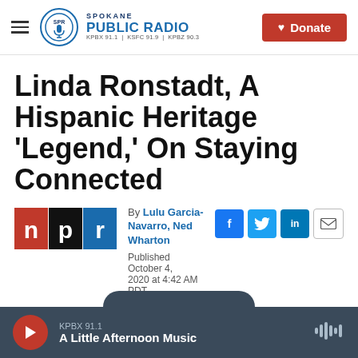Spokane Public Radio — KPBX 91.1 | KSFC 91.9 | KPBZ 90.3 — Donate
Linda Ronstadt, A Hispanic Heritage 'Legend,' On Staying Connected
By Lulu Garcia-Navarro, Ned Wharton
Published October 4, 2020 at 4:42 AM PDT
[Figure (logo): NPR logo — red, black, and blue horizontal logo]
[Figure (infographic): Social sharing icons: Facebook, Twitter, LinkedIn, Email]
KPBX 91.1 — A Little Afternoon Music (audio player bar)